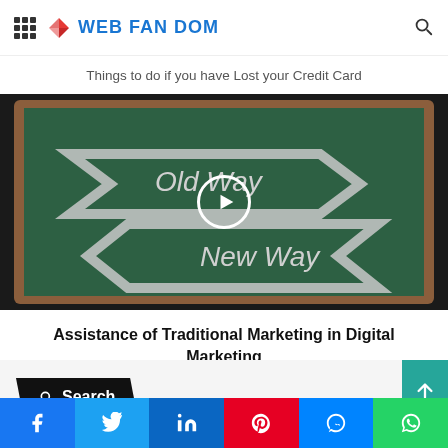WEB FAN DOM
Things to do if you have Lost your Credit Card
[Figure (screenshot): Chalkboard with two arrows: one pointing right labeled 'Old Way' and one pointing left labeled 'New Way', with a video play button overlay]
Assistance of Traditional Marketing in Digital Marketing
Search
Facebook Twitter LinkedIn Pinterest Messenger WhatsApp